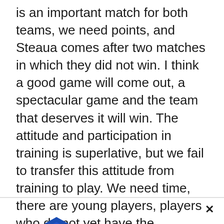is an important match for both teams, we need points, and Steaua comes after two matches in which they did not win. I think a good game will come out, a spectacular game and the team that deserves it will win. The attitude and participation in training is superlative, but we fail to transfer this attitude from training to play. We need time, there are young players, players who do not yet have the experience of the 2nd League. Only by collecting as
[Figure (logo): FC Brasov logo — blue hexagon with stylized 'b' shape inside, with the text BRASOV below in bold blue capital letters]